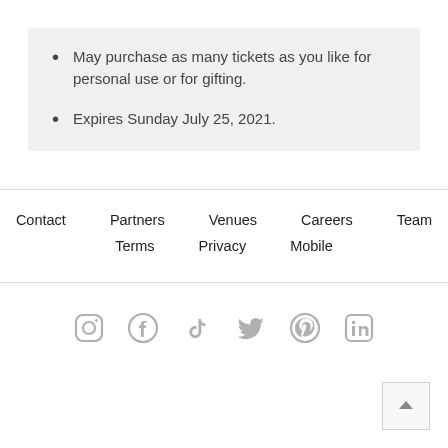May purchase as many tickets as you like for personal use or for gifting.
Expires Sunday July 25, 2021.
Contact  Partners  Venues  Careers  Team  Terms  Privacy  Mobile